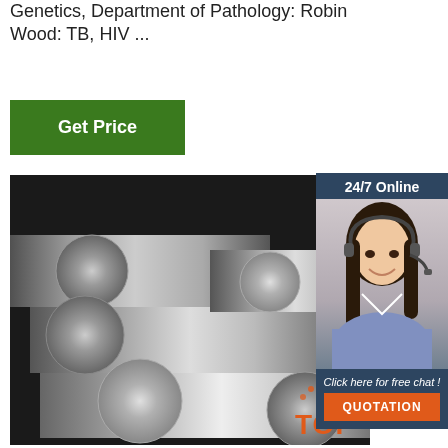Genetics, Department of Pathology: Robin Wood: TB, HIV ...
Get Price
[Figure (photo): Steel cylindrical rods/bars stacked together on a dark background, showing metallic silver surfaces with circular cross-sections]
[Figure (infographic): 24/7 Online chat widget with a female customer service agent wearing a headset, with 'Click here for free chat!' text and an orange QUOTATION button]
[Figure (logo): Orange TOP badge/logo with dot arc above the word TOP]